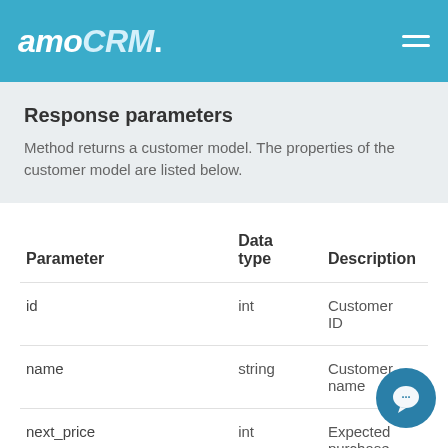amoCRM.
Response parameters
Method returns a customer model. The properties of the customer model are listed below.
| Parameter | Data type | Description |
| --- | --- | --- |
| id | int | Customer ID |
| name | string | Customer name |
| next_price | int | Expected purchase |